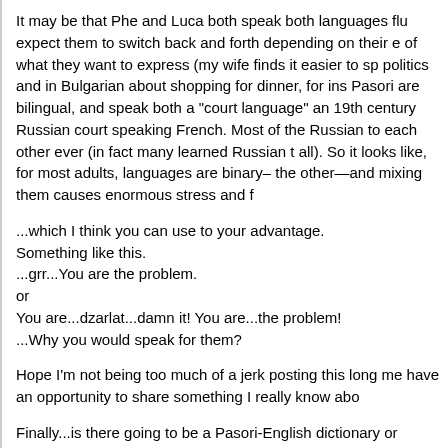It may be that Phe and Luca both speak both languages flu... expect them to switch back and forth depending on their e... of what they want to express (my wife finds it easier to sp... politics and in Bulgarian about shopping for dinner, for ins... Pasori are bilingual, and speak both a "court language" an... 19th century Russian court speaking French. Most of the ... Russian to each other ever (in fact many learned Russian t... all). So it looks like, for most adults, languages are binary– the other—and mixing them causes enormous stress and f...
...which I think you can use to your advantage.
Something like this.
...grr...You are the problem.
or
You are...dzarlat...damn it! You are...the problem!
...Why you would speak for them?
Hope I'm not being too much of a jerk posting this long me... have an opportunity to share something I really know abo...
Finally...is there going to be a Pasori-English dictionary or...